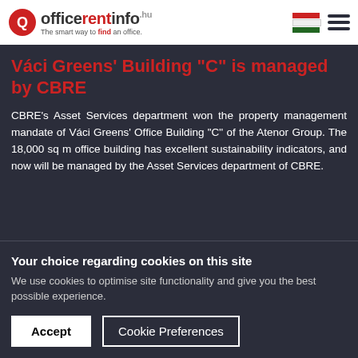officerentinfo.hu – The smart way to find an office.
Váci Greens' Building "C" is managed by CBRE
CBRE's Asset Services department won the property management mandate of Váci Greens' Office Building "C" of the Atenor Group. The 18,000 sq m office building has excellent sustainability indicators, and now will be managed by the Asset Services department of CBRE.
Your choice regarding cookies on this site
We use cookies to optimise site functionality and give you the best possible experience.
Accept   Cookie Preferences